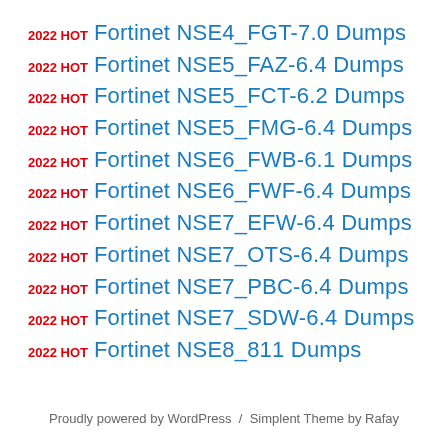2022 HOT Fortinet NSE4_FGT-7.0 Dumps
2022 HOT Fortinet NSE5_FAZ-6.4 Dumps
2022 HOT Fortinet NSE5_FCT-6.2 Dumps
2022 HOT Fortinet NSE5_FMG-6.4 Dumps
2022 HOT Fortinet NSE6_FWB-6.1 Dumps
2022 HOT Fortinet NSE6_FWF-6.4 Dumps
2022 HOT Fortinet NSE7_EFW-6.4 Dumps
2022 HOT Fortinet NSE7_OTS-6.4 Dumps
2022 HOT Fortinet NSE7_PBC-6.4 Dumps
2022 HOT Fortinet NSE7_SDW-6.4 Dumps
2022 HOT Fortinet NSE8_811 Dumps
Proudly powered by WordPress  /  Simplent Theme by Rafay